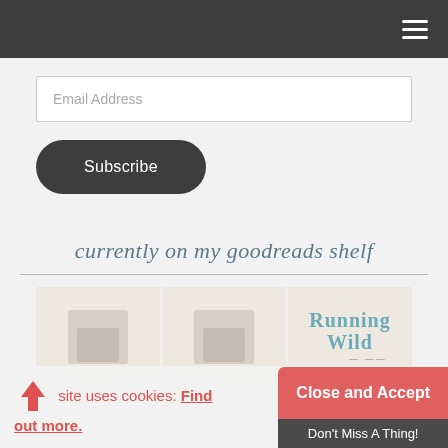Navigation bar with hamburger menu
Email Address
Subscribe
currently on my goodreads shelf
[Figure (illustration): Three book covers on a shelf: two placeholder beige covers and one showing 'Running Wild' in blue text]
This site uses cookies: Find out more.
Close and Accept
Don't Miss A Thing!